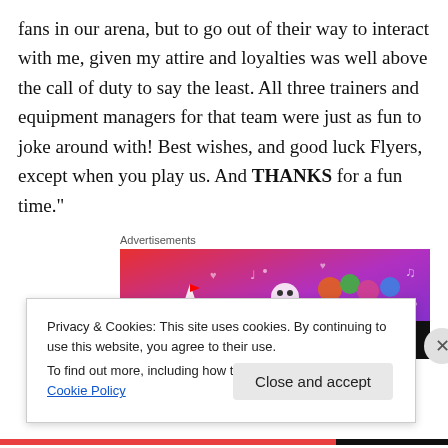fans in our arena, but to go out of their way to interact with me, given my attire and loyalties was well above the call of duty to say the least. All three trainers and equipment managers for that team were just as fun to joke around with! Best wishes, and good luck Flyers, except when you play us. And THANKS for a fun time."
Advertisements
[Figure (illustration): Fandom advertisement banner with colorful gradient background (red to purple), featuring a cartoon sailboat, skull, colorful dice/gems, music notes, hearts, and other decorative elements. The word FANDOM is displayed in large black text on the lower portion.]
Privacy & Cookies: This site uses cookies. By continuing to use this website, you agree to their use.
To find out more, including how to control cookies, see here: Cookie Policy